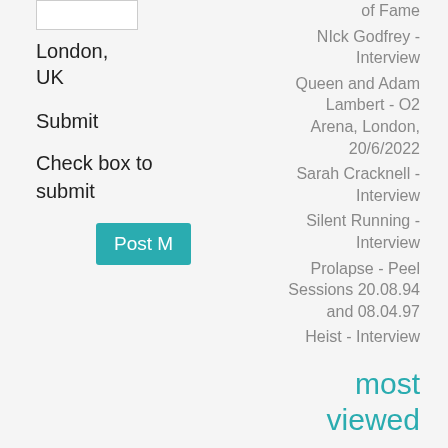London, UK
Submit
Check box to submit
Post M
of Fame
NIck Godfrey - Interview
Queen and Adam Lambert - O2 Arena, London, 20/6/2022
Sarah Cracknell - Interview
Silent Running - Interview
Prolapse - Peel Sessions 20.08.94 and 08.04.97
Heist - Interview
most viewed